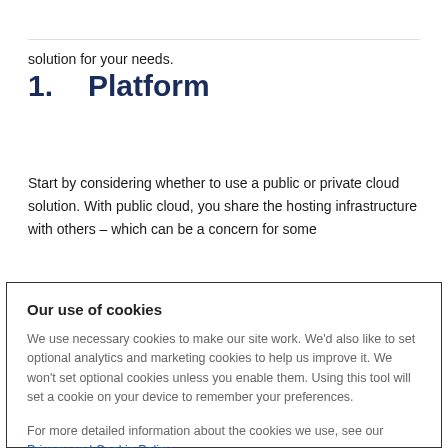solution for your needs.
1.      Platform
Start by considering whether to use a public or private cloud solution. With public cloud, you share the hosting infrastructure with others – which can be a concern for some
Our use of cookies
We use necessary cookies to make our site work. We'd also like to set optional analytics and marketing cookies to help us improve it. We won't set optional cookies unless you enable them. Using this tool will set a cookie on your device to remember your preferences.
For more detailed information about the cookies we use, see our Privacy and Cookie Policy